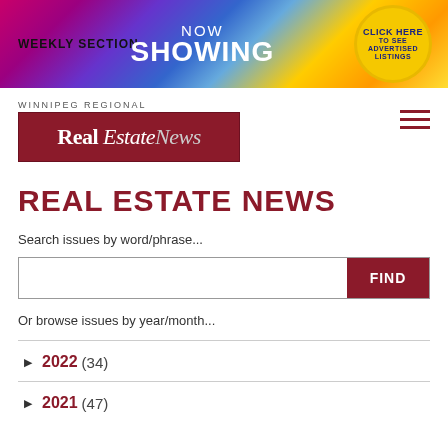[Figure (illustration): Banner advertisement with colorful geometric background reading 'WEEKLY SECTION NOW SHOWING' with a circle button 'CLICK HERE TO SEE ADVERTISED LISTINGS']
[Figure (logo): Winnipeg Regional Real Estate News logo — white text on dark red background]
REAL ESTATE NEWS
Search issues by word/phrase...
Or browse issues by year/month...
▶ 2022 (34)
▶ 2021 (47)